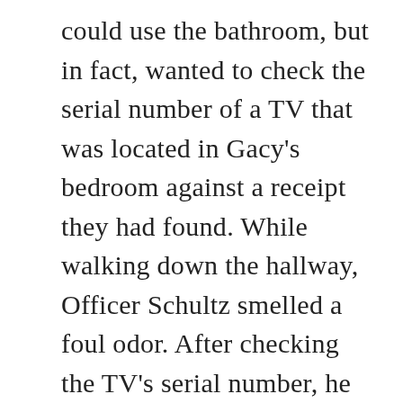could use the bathroom, but in fact, wanted to check the serial number of a TV that was located in Gacy's bedroom against a receipt they had found. While walking down the hallway, Officer Schultz smelled a foul odor. After checking the TV's serial number, he made his way into the bathroom to